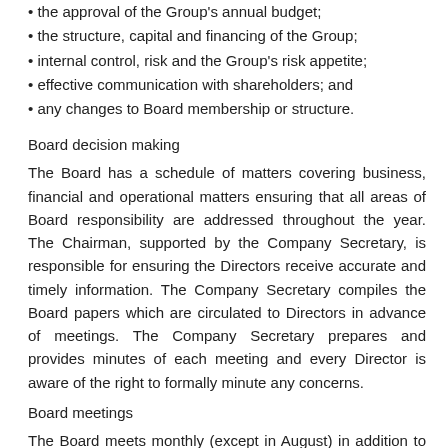the approval of the Group's annual budget;
the structure, capital and financing of the Group;
internal control, risk and the Group's risk appetite;
effective communication with shareholders; and
any changes to Board membership or structure.
Board decision making
The Board has a schedule of matters covering business, financial and operational matters ensuring that all areas of Board responsibility are addressed throughout the year. The Chairman, supported by the Company Secretary, is responsible for ensuring the Directors receive accurate and timely information. The Company Secretary compiles the Board papers which are circulated to Directors in advance of meetings. The Company Secretary prepares and provides minutes of each meeting and every Director is aware of the right to formally minute any concerns.
Board meetings
The Board meets monthly (except in August) in addition to any ad hoc Board meetings that may be required during the year. Non-Executive Directors communicate directly with Executive